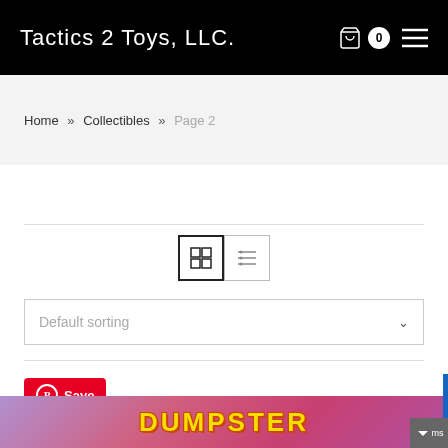Tactics 2 Toys, LLC.
Home » Collectibles » Page 2
[Figure (screenshot): Grid view and list view toggle buttons, with grid view active (bold border) and list view inactive]
Default sorting
[Figure (screenshot): Pinterest Save button (red) and partial product image showing DUMPSTER text]